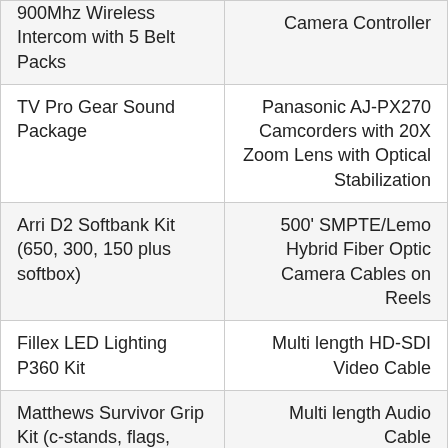| 900Mhz Wireless Intercom with 5 Belt Packs | Camera Controller |
| TV Pro Gear Sound Package | Panasonic AJ-PX270 Camcorders with 20X Zoom Lens with Optical Stabilization |
| Arri D2 Softbank Kit (650, 300, 150 plus softbox) | 500' SMPTE/Lemo Hybrid Fiber Optic Camera Cables on Reels |
| Fillex LED Lighting P360 Kit | Multi length HD-SDI Video Cable |
| Matthews Survivor Grip Kit (c-stands, flags, scrims, bags) | Multi length Audio Cable |
| Libec Swift Jib 50 with Remo30 Robotic Head | Libec MS-01 Remote Zoom/Focus Controls |